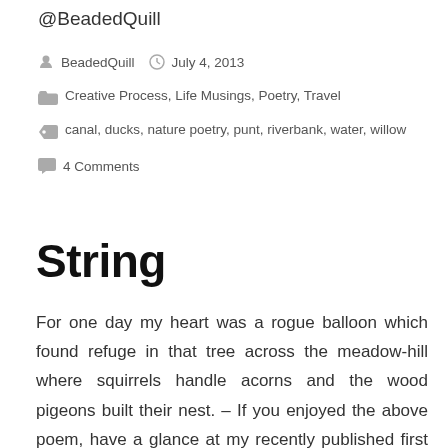@BeadedQuill
BeadedQuill   July 4, 2013
Creative Process, Life Musings, Poetry, Travel
canal, ducks, nature poetry, punt, riverbank, water, willow
4 Comments
String
For one day my heart was a rogue balloon which found refuge in that tree across the meadow-hill where squirrels handle acorns and the wood pigeons built their nest. – If you enjoyed the above poem, have a glance at my recently published first volume Shining in Bright...